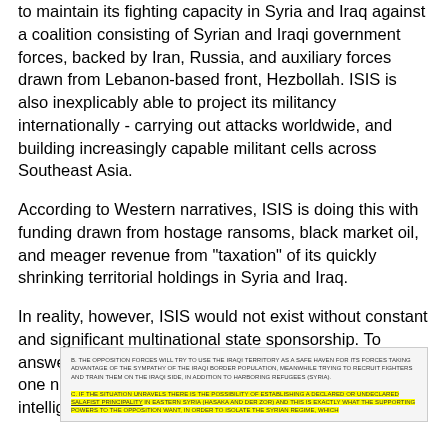to maintain its fighting capacity in Syria and Iraq against a coalition consisting of Syrian and Iraqi government forces, backed by Iran, Russia, and auxiliary forces drawn from Lebanon-based front, Hezbollah. ISIS is also inexplicably able to project its militancy internationally - carrying out attacks worldwide, and building increasingly capable militant cells across Southeast Asia.
According to Western narratives, ISIS is doing this with funding drawn from hostage ransoms, black market oil, and meager revenue from "taxation" of its quickly shrinking territorial holdings in Syria and Iraq.
In reality, however, ISIS would not exist without constant and significant multinational state sponsorship. To answer which nations are providing ISIS sponsorship, one needs only to read the United States' own intelligence reports.
[Figure (screenshot): Scanned intelligence document excerpt. Text reads: 'B. THE OPPOSITION FORCES WILL TRY TO USE THE IRAQI TERRITORY AS A SAFE HAVEN FOR ITS FORCES TAKING ADVANTAGE OF THE SYMPATHY OF THE IRAQI BORDER POPULATION, MEANWHILE TRYING TO RECRUIT FIGHTERS AND TRAIN THEM ON THE IRAQI SIDE, IN ADDITION TO HARBORING REFUGEES (SYRIA). C. IF THE SITUATION UNRAVELS THERE IS THE POSSIBILITY OF ESTABLISHING A DECLARED OR UNDECLARED SALAFIST PRINCIPALITY IN EASTERN SYRIA (HASAKA AND DER ZOR) AND THIS IS EXACTLY WHAT THE SUPPORTING POWERS TO THE OPPOSITION WANT, IN ORDER TO ISOLATE THE SYRIAN REGIME, WHICH'. Section C is highlighted in yellow.]